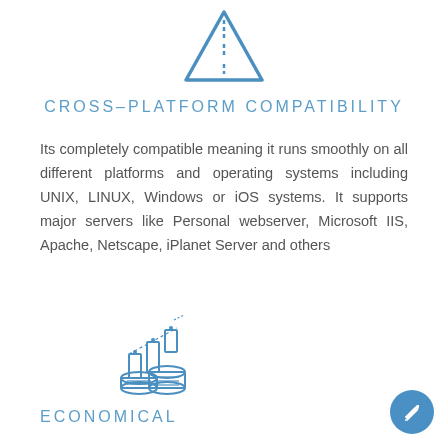[Figure (illustration): Blue road/highway icon viewed from above, triangular shape with dashed center line]
CROSS-PLATFORM COMPATIBILITY
Its completely compatible meaning it runs smoothly on all different platforms and operating systems including UNIX, LINUX, Windows or iOS systems. It supports major servers like Personal webserver, Microsoft IIS, Apache, Netscape, iPlanet Server and others
[Figure (illustration): Blue stacked coins/bar chart economy icon]
ECONOMICAL